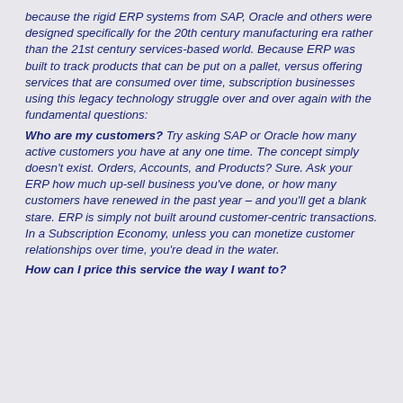because the rigid ERP systems from SAP, Oracle and others were designed specifically for the 20th century manufacturing era rather than the 21st century services-based world. Because ERP was built to track products that can be put on a pallet, versus offering services that are consumed over time, subscription businesses using this legacy technology struggle over and over again with the fundamental questions:
Who are my customers? Try asking SAP or Oracle how many active customers you have at any one time. The concept simply doesn't exist. Orders, Accounts, and Products? Sure. Ask your ERP how much up-sell business you've done, or how many customers have renewed in the past year – and you'll get a blank stare. ERP is simply not built around customer-centric transactions. In a Subscription Economy, unless you can monetize customer relationships over time, you're dead in the water.
How can I price this service the way I want to?